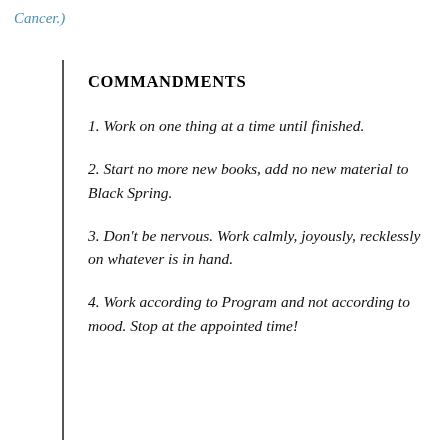Cancer.)
COMMANDMENTS
1. Work on one thing at a time until finished.
2. Start no more new books, add no new material to Black Spring.
3. Don't be nervous. Work calmly, joyously, recklessly on whatever is in hand.
4. Work according to Program and not according to mood. Stop at the appointed time!